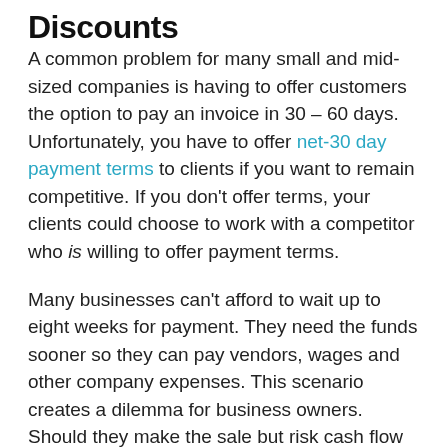Discounts
A common problem for many small and mid-sized companies is having to offer customers the option to pay an invoice in 30 – 60 days. Unfortunately, you have to offer net-30 day payment terms to clients if you want to remain competitive. If you don't offer terms, your clients could choose to work with a competitor who is willing to offer payment terms.
Many businesses can't afford to wait up to eight weeks for payment. They need the funds sooner so they can pay vendors, wages and other company expenses. This scenario creates a dilemma for business owners. Should they make the sale but risk cash flow problems? Or